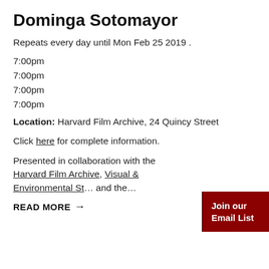Dominga Sotomayor
Repeats every day until Mon Feb 25 2019 .
7:00pm
7:00pm
7:00pm
7:00pm
Location: Harvard Film Archive, 24 Quincy Street
Click here for complete information.
Presented in collaboration with the Harvard Film Archive, Visual & Environmental St... and the...
Join our Email List
READ MORE →